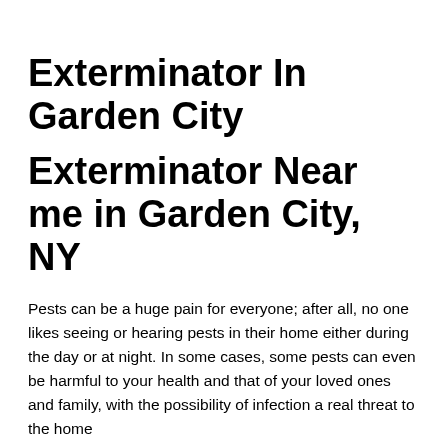Exterminator In Garden City
Exterminator Near me in Garden City, NY
Pests can be a huge pain for everyone; after all, no one likes seeing or hearing pests in their home either during the day or at night. In some cases, some pests can even be harmful to your health and that of your loved ones and family, with the possibility of infection a real threat to the home